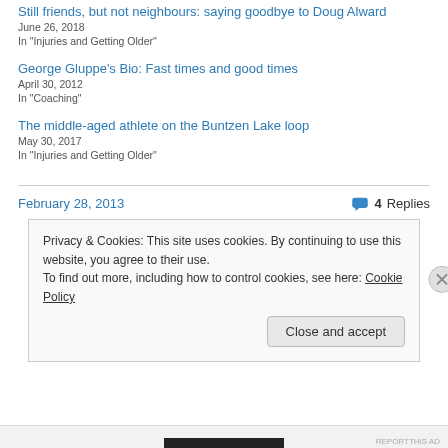Still friends, but not neighbours: saying goodbye to Doug Alward
June 26, 2018
In "Injuries and Getting Older"
George Gluppe's Bio: Fast times and good times
April 30, 2012
In "Coaching"
The middle-aged athlete on the Buntzen Lake loop
May 30, 2017
In "Injuries and Getting Older"
February 28, 2013
4 Replies
Privacy & Cookies: This site uses cookies. By continuing to use this website, you agree to their use.
To find out more, including how to control cookies, see here: Cookie Policy
Close and accept